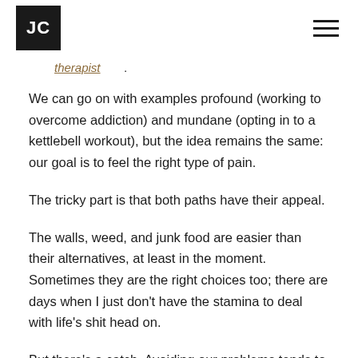JC [logo] [hamburger menu]
therapist.
We can go on with examples profound (working to overcome addiction) and mundane (opting in to a kettlebell workout), but the idea remains the same: our goal is to feel the right type of pain.
The tricky part is that both paths have their appeal.
The walls, weed, and junk food are easier than their alternatives, at least in the moment. Sometimes they are the right choices too; there are days when I just don't have the stamina to deal with life's shit head on.
But there's a catch. Avoiding our problems tends to make us worse for wear. When we take this path, the